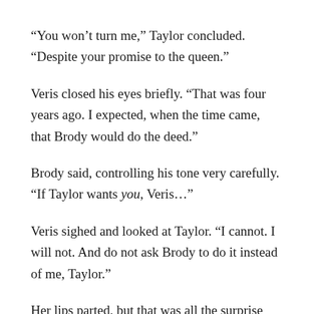“You won’t turn me,” Taylor concluded. “Despite your promise to the queen.”
Veris closed his eyes briefly. “That was four years ago. I expected, when the time came, that Brody would do the deed.”
Brody said, controlling his tone very carefully. “If Taylor wants you, Veris…”
Veris sighed and looked at Taylor. “I cannot. I will not. And do not ask Brody to do it instead of me, Taylor.”
Her lips parted, but that was all the surprise she